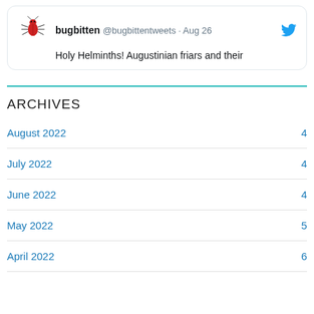[Figure (screenshot): Tweet card from @bugbittentweets (bugbitten) dated Aug 26 with bug/mosquito emoji icon and Twitter bird logo. Text: 'Holy Helminths! Augustinian friars and their']
ARCHIVES
August 2022  4
July 2022  4
June 2022  4
May 2022  5
April 2022  6